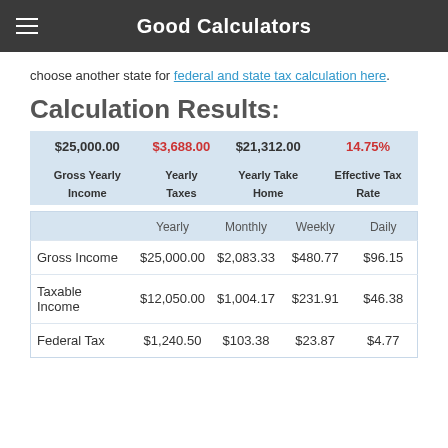Good Calculators
choose another state for federal and state tax calculation here.
Calculation Results:
| Gross Yearly Income | Yearly Taxes | Yearly Take Home | Effective Tax Rate |
| --- | --- | --- | --- |
| $25,000.00 | $3,688.00 | $21,312.00 | 14.75% |
|  | Yearly | Monthly | Weekly | Daily |
| --- | --- | --- | --- | --- |
| Gross Income | $25,000.00 | $2,083.33 | $480.77 | $96.15 |
| Taxable Income | $12,050.00 | $1,004.17 | $231.91 | $46.38 |
| Federal Tax | $1,240.50 | $103.38 | $23.87 | $4.77 |